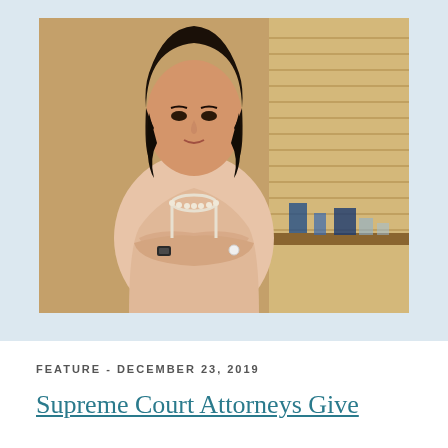[Figure (photo): A woman with dark hair wearing a light pink blouse and pearl necklace stands with arms crossed in an office setting with wooden furniture and window blinds in the background.]
FEATURE - DECEMBER 23, 2019
Supreme Court Attorneys Give